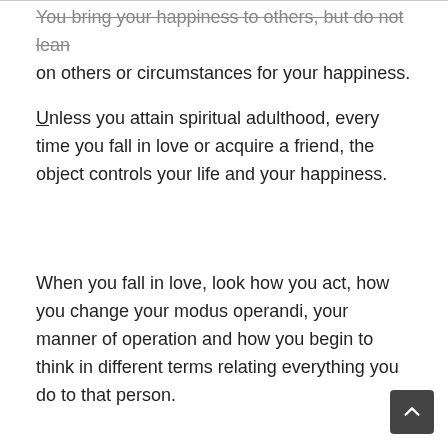You bring your happiness to others, but do not lean on others or circumstances for your happiness.
Unless you attain spiritual adulthood, every time you fall in love or acquire a friend, the object controls your life and your happiness.
When you fall in love, look how you act, how you change your modus operandi, your manner of operation and how you begin to think in different terms relating everything you do to that person.